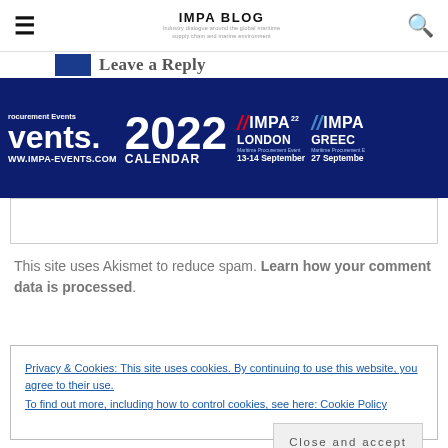IMPA BLOG
[Figure (screenshot): IMPA 2022 Maritime Procurement Events banner advertisement showing 2022 Calendar, IMPA London 13-14 September, IMPA Greece 27 September, with URL www.impa-events.com]
This site uses Akismet to reduce spam. Learn how your comment data is processed.
Privacy & Cookies: This site uses cookies. By continuing to use this website, you agree to their use.
To find out more, including how to control cookies, see here: Cookie Policy